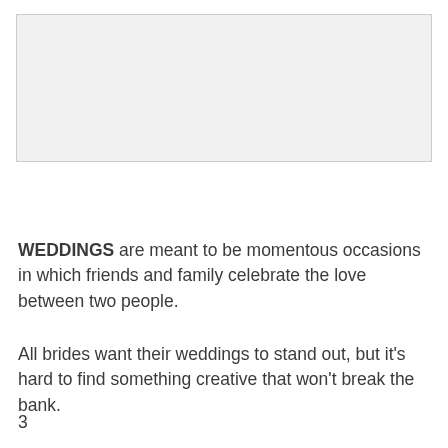[Figure (photo): A large light gray rectangular placeholder area representing an image at the top of the page.]
WEDDINGS are meant to be momentous occasions in which friends and family celebrate the love between two people.
All brides want their weddings to stand out, but it’s hard to find something creative that won’t break the bank.
3